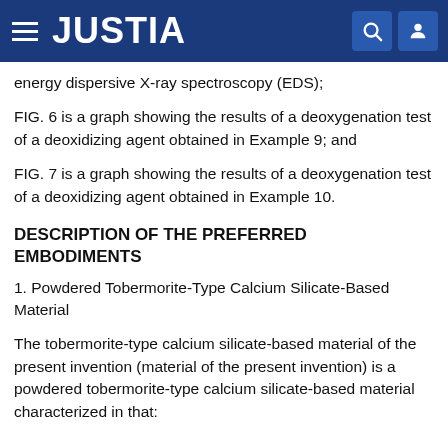JUSTIA
energy dispersive X-ray spectroscopy (EDS);
FIG. 6 is a graph showing the results of a deoxygenation test of a deoxidizing agent obtained in Example 9; and
FIG. 7 is a graph showing the results of a deoxygenation test of a deoxidizing agent obtained in Example 10.
DESCRIPTION OF THE PREFERRED EMBODIMENTS
1. Powdered Tobermorite-Type Calcium Silicate-Based Material
The tobermorite-type calcium silicate-based material of the present invention (material of the present invention) is a powdered tobermorite-type calcium silicate-based material characterized in that: